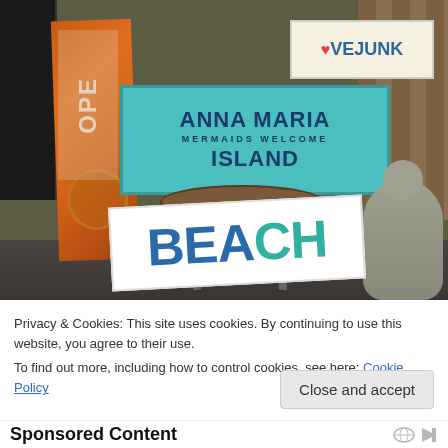[Figure (photo): Outdoor shop display with colorful signs including 'Anna Maria Island - Mermaids Welcome', 'LoveJunk', 'OPEN', and 'BEACH', along with a statue and round table]
Privacy & Cookies: This site uses cookies. By continuing to use this website, you agree to their use.
To find out more, including how to control cookies, see here: Cookie Policy
Close and accept
Sponsored Content